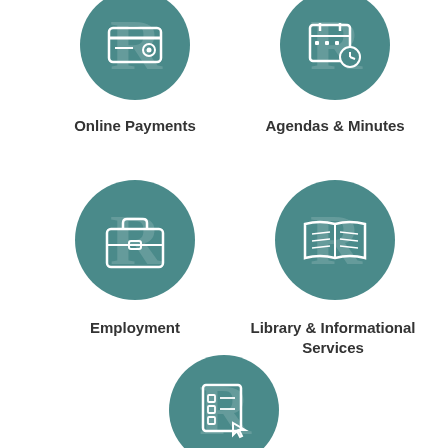[Figure (infographic): Circular teal icon with online payment / credit card symbol]
Online Payments
[Figure (infographic): Circular teal icon with calendar and clock symbol]
Agendas & Minutes
[Figure (infographic): Circular teal icon with briefcase symbol]
Employment
[Figure (infographic): Circular teal icon with open book symbol]
Library & Informational Services
[Figure (infographic): Circular teal icon with forms/checklist and cursor symbol]
Forms & Permits